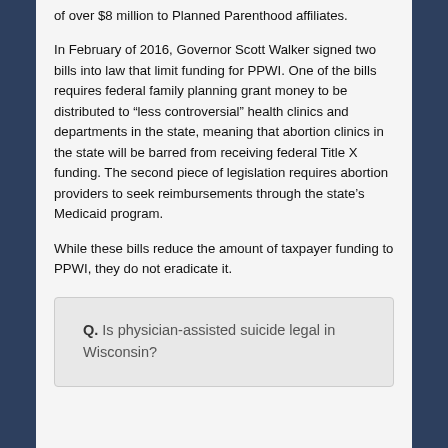of over $8 million to Planned Parenthood affiliates.
In February of 2016, Governor Scott Walker signed two bills into law that limit funding for PPWI. One of the bills requires federal family planning grant money to be distributed to “less controversial” health clinics and departments in the state, meaning that abortion clinics in the state will be barred from receiving federal Title X funding. The second piece of legislation requires abortion providers to seek reimbursements through the state’s Medicaid program.
While these bills reduce the amount of taxpayer funding to PPWI, they do not eradicate it.
Q. Is physician-assisted suicide legal in Wisconsin?